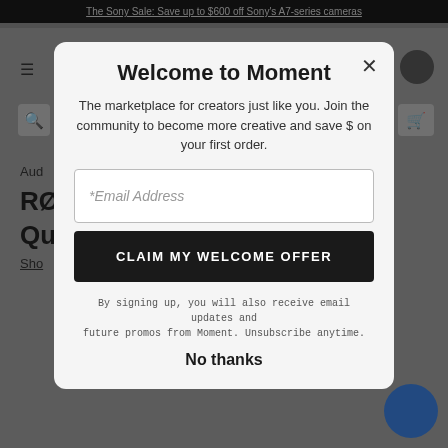The Sony Sale: Save up to $600 off Sony's A7-series cameras
[Figure (screenshot): Website background showing a navigation bar with hamburger menu, search icon, cart icon, camera thumbnail, breadcrumb text 'Aud', product title 'RØ', 'Qu', shop link, and a blue circle in the bottom right corner]
Welcome to Moment
The marketplace for creators just like you. Join the community to become more creative and save $ on your first order.
*Email Address
CLAIM MY WELCOME OFFER
By signing up, you will also receive email updates and future promos from Moment. Unsubscribe anytime.
No thanks